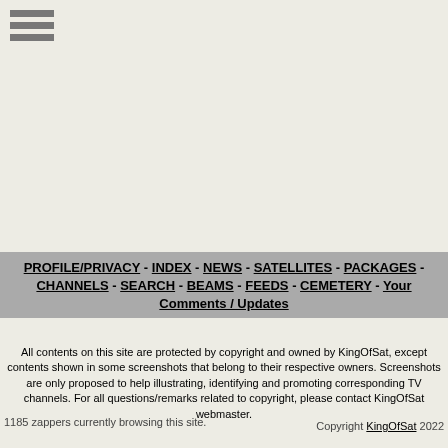[Figure (other): Hamburger menu icon with three horizontal gray bars]
PROFILE/PRIVACY - INDEX - NEWS - SATELLITES - PACKAGES - CHANNELS - SEARCH - BEAMS - FEEDS - CEMETERY - Your Comments / Updates
All contents on this site are protected by copyright and owned by KingOfSat, except contents shown in some screenshots that belong to their respective owners. Screenshots are only proposed to help illustrating, identifying and promoting corresponding TV channels. For all questions/remarks related to copyright, please contact KingOfSat webmaster.
1185 zappers currently browsing this site.
Copyright KingOfSat 2022